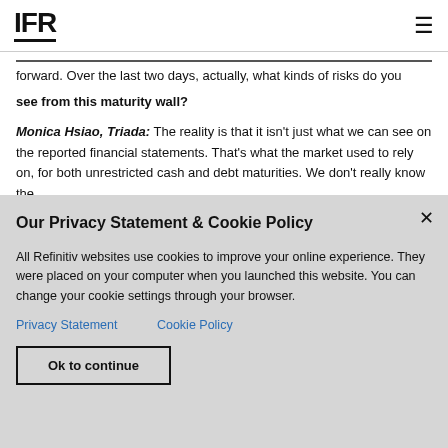IFR
forward. Over the last two days, actually, what kinds of risks do you see from this maturity wall?
Monica Hsiao, Triada: The reality is that it isn't just what we can see on the reported financial statements. That's what the market used to rely on, for both unrestricted cash and debt maturities. We don't really know the
Our Privacy Statement & Cookie Policy
All Refinitiv websites use cookies to improve your online experience. They were placed on your computer when you launched this website. You can change your cookie settings through your browser.
Privacy Statement   Cookie Policy
Ok to continue